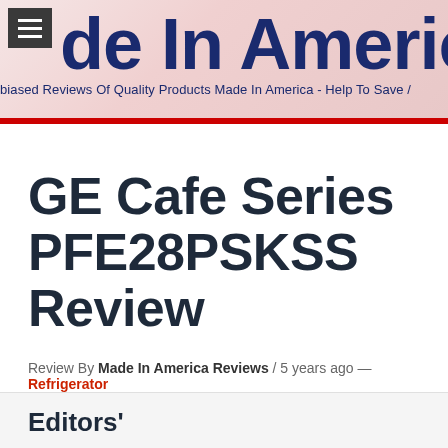de In America — Unbiased Reviews Of Quality Products Made In America - Help To Save A
GE Cafe Series PFE28PSKSS Review
Review By Made In America Reviews / 5 years ago — Refrigerator
Editors'